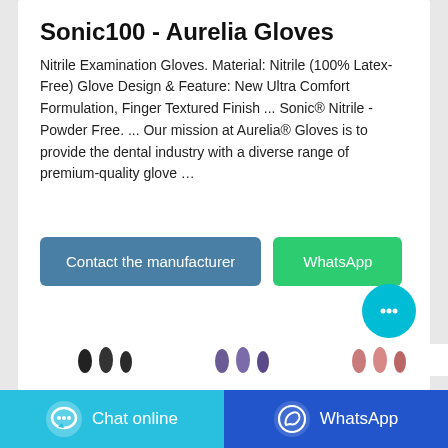Sonic100 - Aurelia Gloves
Nitrile Examination Gloves. Material: Nitrile (100% Latex-Free) Glove Design & Feature: New Ultra Comfort Formulation, Finger Textured Finish ... Sonic® Nitrile - Powder Free. ... Our mission at Aurelia® Gloves is to provide the dental industry with a diverse range of premium-quality glove …
[Figure (other): Contact the manufacturer button (steel blue) and WhatsApp button (green) side by side]
[Figure (other): Cyan circular chat bubble button floating bottom right]
[Figure (other): Row of small glove thumbnail images (black, purple/blue, and pink/red sets)]
[Figure (other): Bottom bar with two buttons: Chat online (cyan) on the left and WhatsApp (dark blue) on the right]